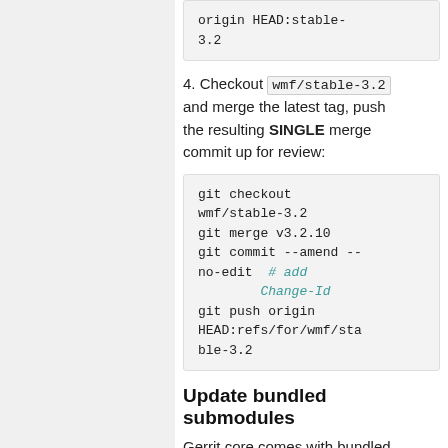origin HEAD:stable-3.2
4. Checkout wmf/stable-3.2 and merge the latest tag, push the resulting SINGLE merge commit up for review:
git checkout wmf/stable-3.2
git merge v3.2.10
git commit --amend --no-edit  # add Change-Id
git push origin HEAD:refs/for/wmf/stable-3.2
Update bundled submodules
Gerrit core comes with bundled plugins and a specific version of its object